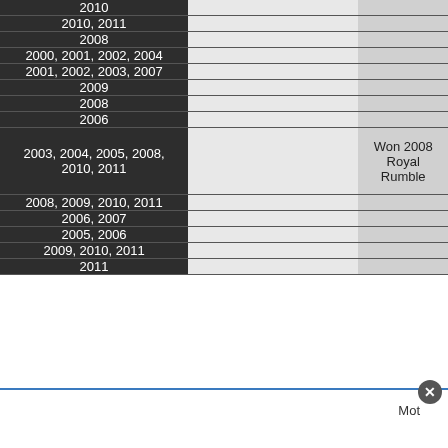| Years |  | Notes |
| --- | --- | --- |
| 2010 |  |  |
| 2010, 2011 |  |  |
| 2008 |  |  |
| 2000, 2001, 2002, 2004 |  |  |
| 2001, 2002, 2003, 2007 |  |  |
| 2009 |  |  |
| 2008 |  |  |
| 2006 |  |  |
| 2003, 2004, 2005, 2008, 2010, 2011 |  | Won 2008 Royal Rumble |
| 2008, 2009, 2010, 2011 |  |  |
| 2006, 2007 |  |  |
| 2005, 2006 |  |  |
| 2009, 2010, 2011 |  |  |
| 2011 |  |  |